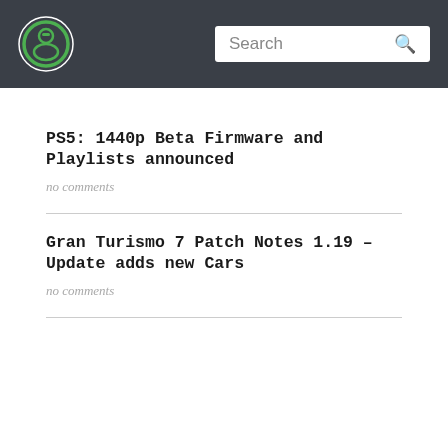Search
PS5: 1440p Beta Firmware and Playlists announced
no comments
Gran Turismo 7 Patch Notes 1.19 – Update adds new Cars
no comments